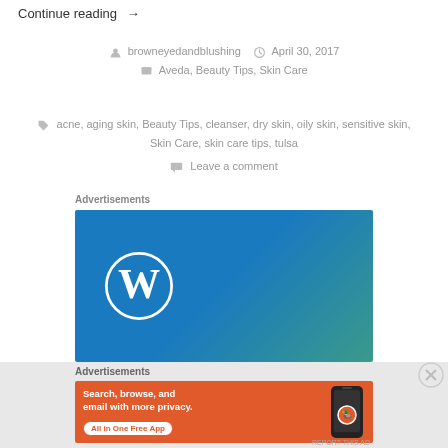Continue reading →
browneyedandblushing   April 30, 2017
Aveda, Beauty Tips, Skin Care
acne, aging skin, Beauty Tips, cleanser, dry skin, oily skin, sensitive skin, Skin Care, skin care tips, tulsa
Leave a comment
Advertisements
[Figure (logo): WordPress advertisement banner with blue-to-teal gradient and WordPress logo (W in circle)]
Advertisements
[Figure (screenshot): DuckDuckGo advertisement on orange background: 'Search, browse, and email with more privacy. All in One Free App' with phone and DuckDuckGo logo]